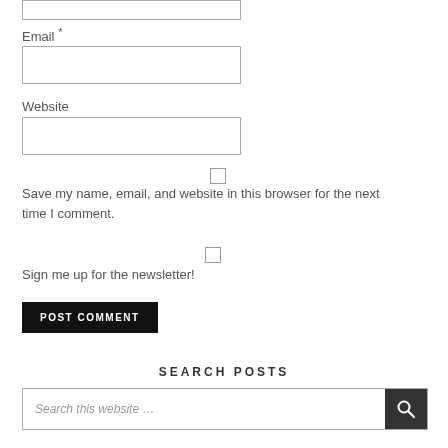Email *
Website
Save my name, email, and website in this browser for the next time I comment.
Sign me up for the newsletter!
POST COMMENT
SEARCH POSTS
Search this website …